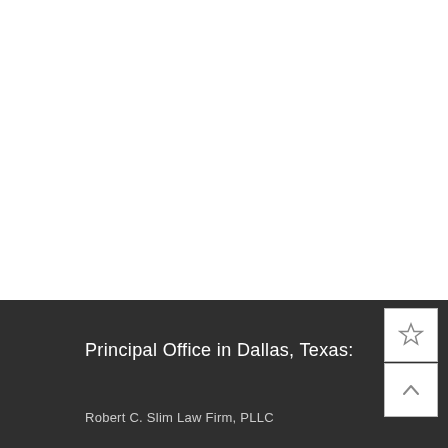Principal Office in Dallas, Texas:
Robert C. Slim Law Firm, PLLC